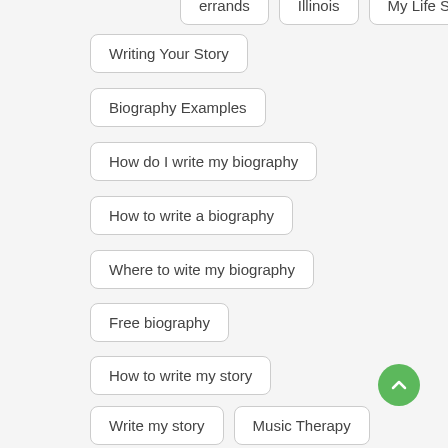errands
Illinois
My Life Story
Writing Your Story
Biography Examples
How do I write my biography
How to write a biography
Where to wite my biography
Free biography
How to write my story
Write my story
Music Therapy
Music Therapy Services